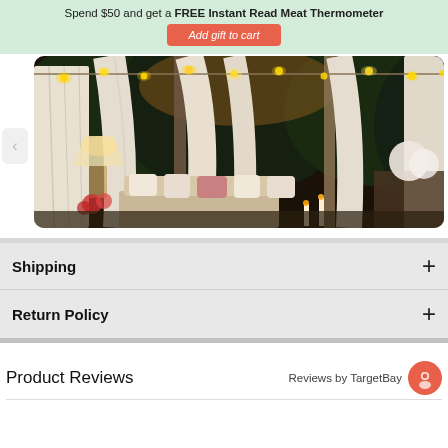Spend $50 and get a FREE Instant Read Meat Thermometer
Add gift to cart
[Figure (photo): Outdoor evening gazebo scene with white draped curtains, string lights, cozy seating with cushions, candles, and floral arrangements on a dark garden background.]
Shipping
Return Policy
Product Reviews
Reviews by TargetBay